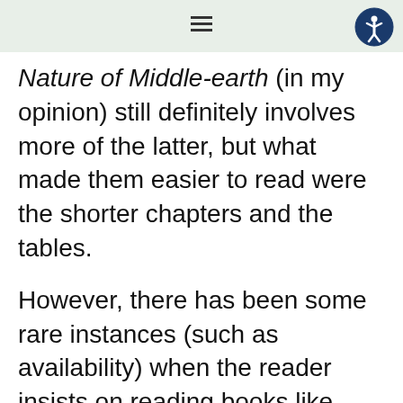≡ [hamburger menu] [accessibility icon]
Nature of Middle-earth (in my opinion) still definitely involves more of the latter, but what made them easier to read were the shorter chapters and the tables.
However, there has been some rare instances (such as availability) when the reader insists on reading books like these and The Silmarillion first – and there's nothing wrong with that! But from what I've heard you may have a hard time following through if you're not used to Tolkien's writing yet. But it's still